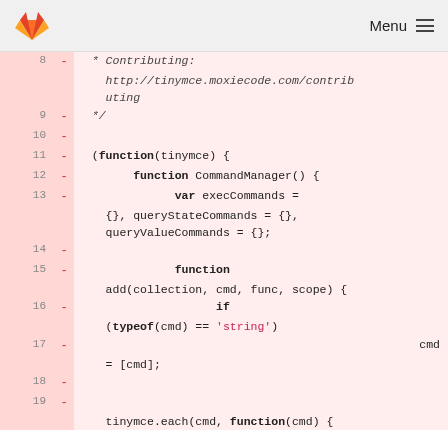Menu
8  -  * Contributing:
        http://tinymce.moxiecode.com/contributing
9  -  */
10 -
11 -  (function(tinymce) {
12 -        function CommandManager() {
13 -              var execCommands =
         {}, queryStateCommands = {},
         queryValueCommands = {};
14 -
15 -              function
         add(collection, cmd, func, scope) {
16 -                    if
         (typeof(cmd) == 'string')
17 -                          cmd
         = [cmd];
18 -
19 -
         tinymce.each(cmd, function(cmd) {